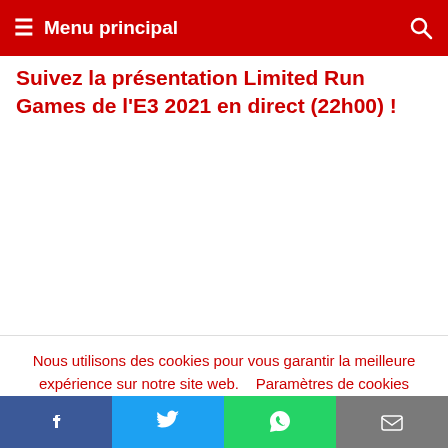Menu principal
Suivez la présentation Limited Run Games de l'E3 2021 en direct (22h00) !
Nous utilisons des cookies pour vous garantir la meilleure expérience sur notre site web.  Paramètres de cookies
Social share bar: Facebook, Twitter, WhatsApp, Email